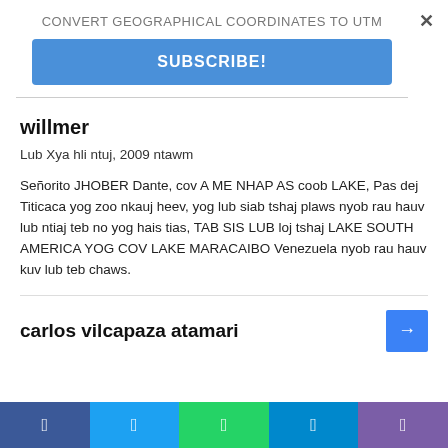CONVERT GEOGRAPHICAL COORDINATES TO UTM
SUBSCRIBE!
willmer
Lub Xya hli ntuj, 2009 ntawm
Señorito JHOBER Dante, cov A ME NHAP AS coob LAKE, Pas dej Titicaca yog zoo nkauj heev, yog lub siab tshaj plaws nyob rau hauv lub ntiaj teb no yog hais tias, TAB SIS LUB loj tshaj LAKE SOUTH AMERICA YOG COV LAKE MARACAIBO Venezuela nyob rau hauv kuv lub teb chaws.
carlos vilcapaza atamari